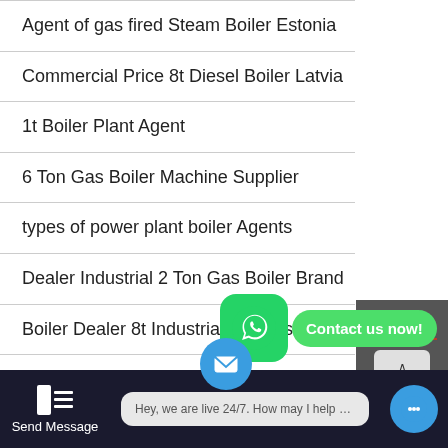Agent of gas fired Steam Boiler Estonia
Commercial Price 8t Diesel Boiler Latvia
1t Boiler Plant Agent
6 Ton Gas Boiler Machine Supplier
types of power plant boiler Agents
Dealer Industrial 2 Ton Gas Boiler Brand
Boiler Dealer 8t Industrial Kyrgyzstan
Fuel Oil Steam Boiler Pro[duct/cure]ment
1t Diesel Boiler Agent Price Tajikistan
[Figure (screenshot): WhatsApp contact button overlay with green WhatsApp icon and 'Contact us now!' green pill button]
[Figure (screenshot): Dark sidebar with Chat label, red divider, TOP button, Email label]
[Figure (screenshot): Bottom navigation bar with Send Message icon, live chat bubble 'Hey, we are live 24/7. How may I help you?', email icon, Inquiry Online button]